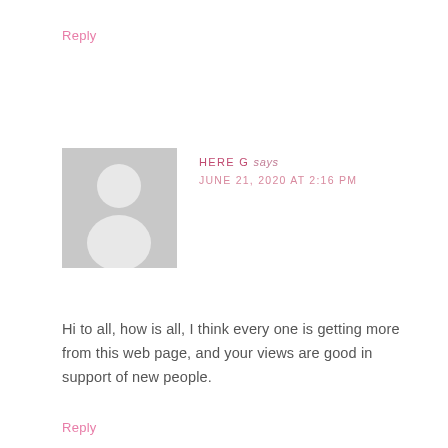Reply
[Figure (illustration): Generic user avatar placeholder: grey square background with white silhouette of a person (head and shoulders)]
HERE G says
JUNE 21, 2020 AT 2:16 PM
Hi to all, how is all, I think every one is getting more from this web page, and your views are good in support of new people.
Reply